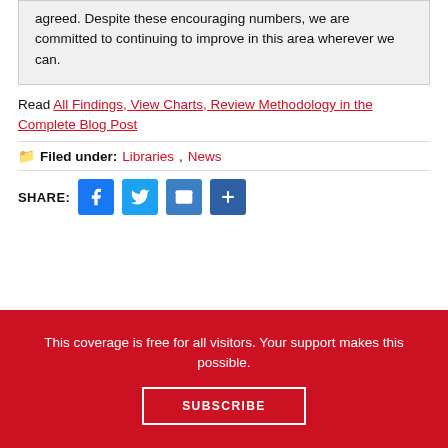agreed. Despite these encouraging numbers, we are committed to continuing to improve in this area wherever we can.
Read All Findings, View Charts, Review Methodology in the Complete Blog Post
Filed under: Libraries, News
SHARE:
This coverage is free for all visitors. Your support makes this possible.
SUBSCRIBE